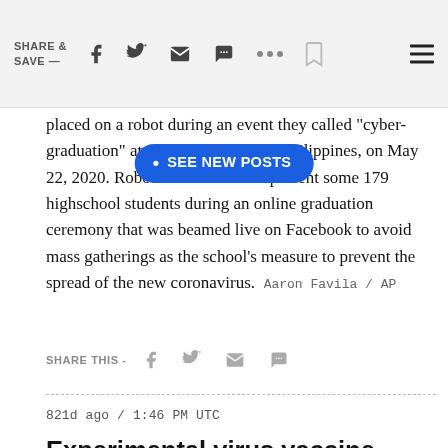SHARE & SAVE —
placed on a robot during an event they called "cyber-graduation" at a school in Manila, Philippines, on May 22, 2020. Robots were used to represent some 179 highschool students during an online graduation ceremony that was beamed live on Facebook to avoid mass gatherings as the school's measure to prevent the spread of the new coronavirus. Aaron Favila / AP
• SEE NEW POSTS
SHARE THIS -
821d ago / 1:46 PM UTC
Experimental virus vaccine reaches advanced trial stages
Keir Simmons, Linda Givetash and Laura Saravia